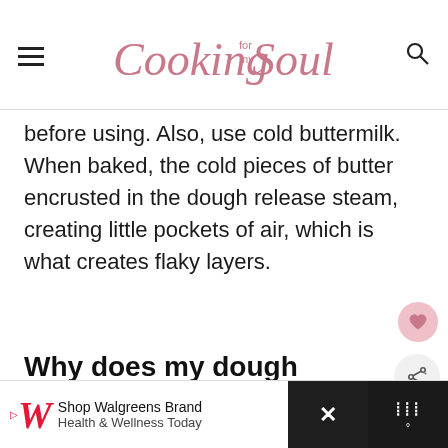Cooking for my Soul
before using. Also, use cold buttermilk. When baked, the cold pieces of butter encrusted in the dough release steam, creating little pockets of air, which is what creates flaky layers.
Why does my dough look crumbly?
At first, the dough will look very crumbly and
Shop Walgreens Brand Health & Wellness Today